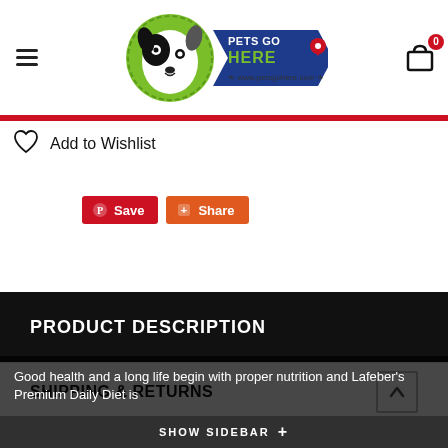Pets Go Here — www.petsgohere.com
Add to Wishlist
[Figure (screenshot): Pinterest Save button (red) and Share button (orange)]
PRODUCT DESCRIPTION
SHIPPING & RETURNS
Good health and a long life begin with proper nutrition and Lafeber's Premium Daily Diet is
SHOW SIDEBAR +